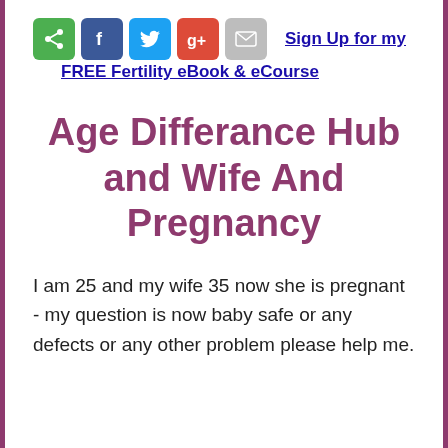[Figure (infographic): Row of social media share buttons: share (green), Facebook (blue), Twitter (light blue), Google+ (red), email/mail (grey)]
Sign Up for my FREE Fertility eBook & eCourse
Age Differance Hub and Wife And Pregnancy
I am 25 and my wife 35 now she is pregnant - my question is now baby safe or any defects or any other problem please help me.